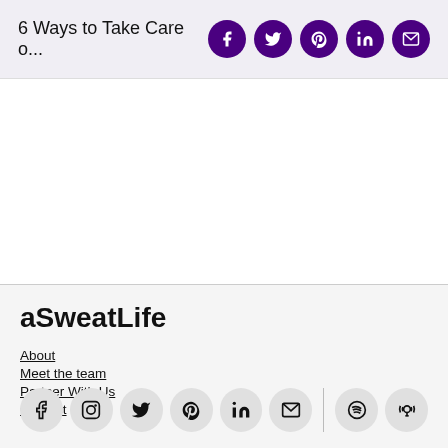6 Ways to Take Care o...
aSweatLife
About
Meet the team
Partner With Us
Contact
[Figure (infographic): Row of social media icon circles: Facebook, Instagram, Twitter, Pinterest, LinkedIn, Email, then a vertical divider, then Spotify, Podcast]